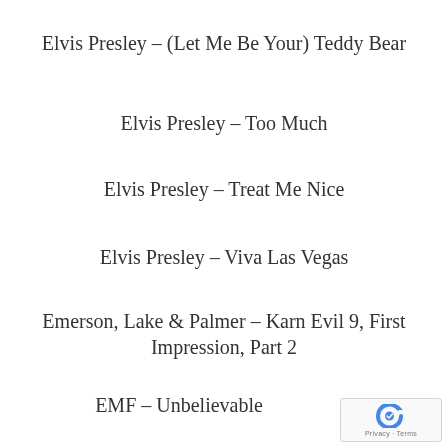Elvis Presley – (Let Me Be Your) Teddy Bear
Elvis Presley – Too Much
Elvis Presley – Treat Me Nice
Elvis Presley – Viva Las Vegas
Emerson, Lake & Palmer – Karn Evil 9, First Impression, Part 2
EMF – Unbelievable